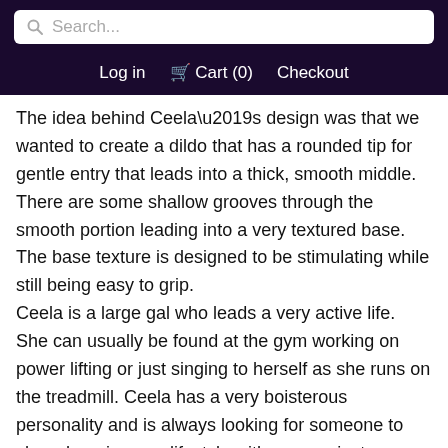Search...
Log in  Cart (0)  Checkout
The idea behind Ceela’s design was that we wanted to create a dildo that has a rounded tip for gentle entry that leads into a thick, smooth middle. There are some shallow grooves through the smooth portion leading into a very textured base. The base texture is designed to be stimulating while still being easy to grip.
Ceela is a large gal who leads a very active life. She can usually be found at the gym working on power lifting or just singing to herself as she runs on the treadmill. Ceela has a very boisterous personality and is always looking for someone to share her vigorous lifestyle with or even just someone to spot her while she weight trains. In her down time she likes to take bubble baths and jam out to her current favorite playlist.